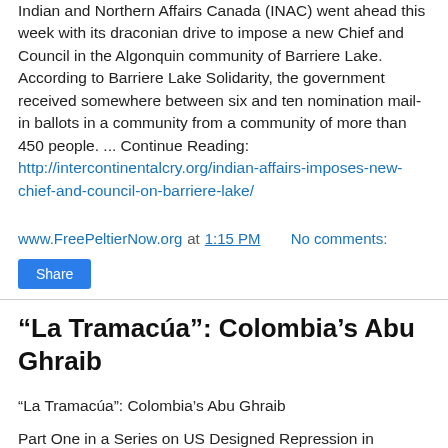Indian and Northern Affairs Canada (INAC) went ahead this week with its draconian drive to impose a new Chief and Council in the Algonquin community of Barriere Lake. According to Barriere Lake Solidarity, the government received somewhere between six and ten nomination mail-in ballots in a community from a community of more than 450 people. ... Continue Reading: http://intercontinentalcry.org/indian-affairs-imposes-new-chief-and-council-on-barriere-lake/
www.FreePeltierNow.org at 1:15 PM   No comments:
Share
“La Tramacúa”: Colombia’s Abu Ghraib
“La Tramacúa”: Colombia’s Abu Ghraib
Part One in a Series on US Designed Repression in Colombia’s Prison System
http://www.parsonews.com/Issue66/article4177.html